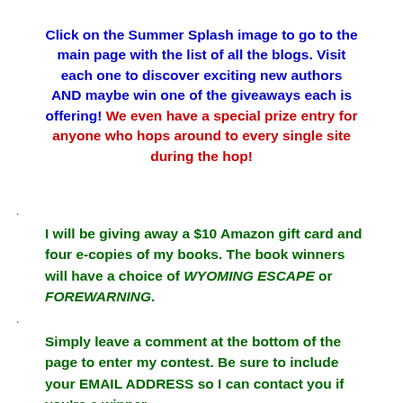Click on the Summer Splash image to go to the main page with the list of all the blogs. Visit each one to discover exciting new authors AND maybe win one of the giveaways each is offering! We even have a special prize entry for anyone who hops around to every single site during the hop!
I will be giving away a $10 Amazon gift card and four e-copies of my books. The book winners will have a choice of WYOMING ESCAPE or FOREWARNING.
Simply leave a comment at the bottom of the page to enter my contest. Be sure to include your EMAIL ADDRESS so I can contact you if you're a winner.